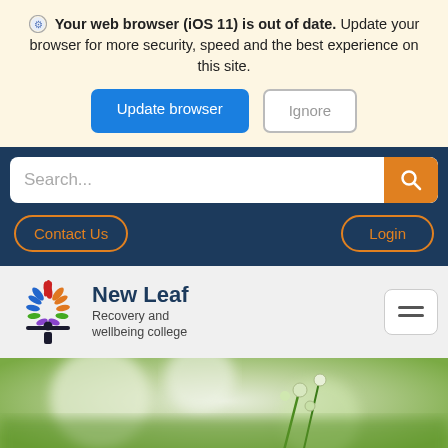⚙ Your web browser (iOS 11) is out of date. Update your browser for more security, speed and the best experience on this site.
Update browser | Ignore
[Figure (screenshot): Search bar with orange search button]
Contact Us | Login
[Figure (logo): New Leaf Recovery and wellbeing college logo with colorful leaf tree icon]
[Figure (photo): Blurred macro nature photo showing green plant buds and stems]
Building healthy relationships